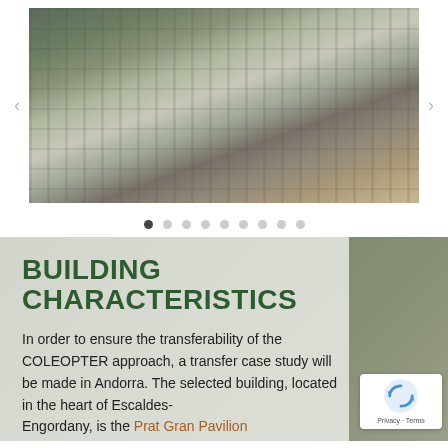[Figure (photo): Aerial view of a European city center, showing dense urban buildings, a plaza area, and autumn trees. The photo is displayed in a carousel with navigation arrows on either side.]
[Figure (infographic): Carousel dot navigation indicator with 9 dots, the first one filled/active (dark) and the rest empty (light grey).]
BUILDING CHARACTERISTICS
In order to ensure the transferability of the COLEOPTER approach, a transfer case study will be made in Andorra. The selected building, located in the heart of Escaldes-Engordany, is the Prat Gran Pavilion